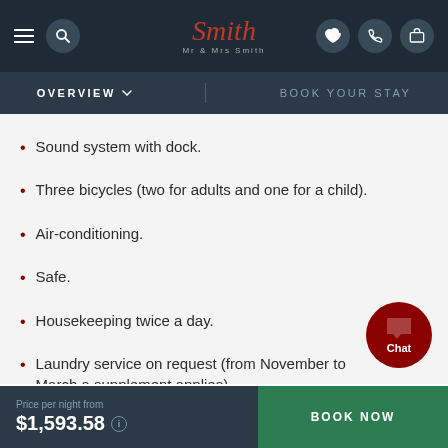Mr & Mrs Smith — OVERVIEW | BOOK YOUR STAY
Sound system with dock.
Three bicycles (two for adults and one for a child).
Air-conditioning.
Safe.
Housekeeping twice a day.
Laundry service on request (from November to March a supplement applies).
Price per night from $1,593.58  BOOK NOW